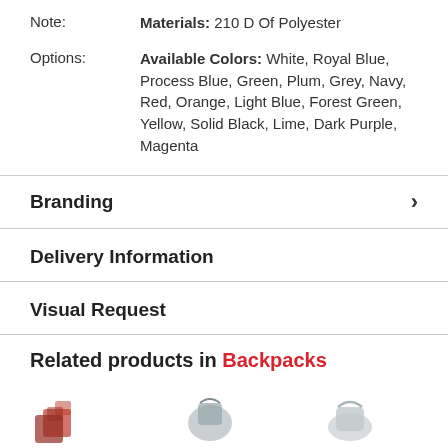Note: Materials: 210 D Of Polyester
Options: Available Colors: White, Royal Blue, Process Blue, Green, Plum, Grey, Navy, Red, Orange, Light Blue, Forest Green, Yellow, Solid Black, Lime, Dark Purple, Magenta
Branding
Delivery Information
Visual Request
Related products in Backpacks
[Figure (photo): Partial product thumbnail images at bottom of page]